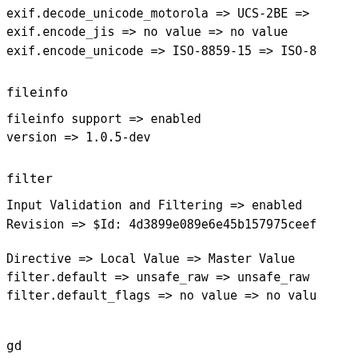exif.decode_unicode_motorola => UCS-2BE =>
exif.encode_jis => no value => no value
exif.encode_unicode => ISO-8859-15 => ISO-8
fileinfo
fileinfo support => enabled
version => 1.0.5-dev
filter
Input Validation and Filtering => enabled
Revision => $Id: 4d3899e089e6e45b157975ceef
Directive => Local Value => Master Value
filter.default => unsafe_raw => unsafe_raw
filter.default_flags => no value => no valu
gd